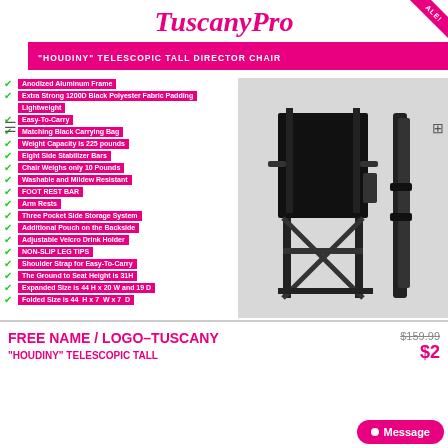[Figure (logo): TuscanyPro brand logo in pink cursive script]
"HOUDINY" TELESCOPIC TALL DIRECTOR CHAIR
Anodized Aluminum Frame
Extra Strong 1200D Black Polyester Fabric Padding
Lightweight
Easy-To-Carry
Matching Black Carrying Bag
Weight Capacity is 225 pounds
Eight Side Stabilizer Bars
Chair Weighs only 10 Pounds
Washable and Mildew Resistant
FOOT REST BAR
Arm Rests
Three Pocket Side Storage System
Additional Pouch on the Backside
Adjustable Velcro Drink Holder
NON-SLIP LEG TIPS
Shoulder Strap for Easy-To-Carry
The Ground to Seat Height is 31H
Expanded Size is 44 H x 20 W and 19 D
Folded Size is 44  H x 7  W x 7  D
[Figure (photo): Black telescopic tall director chair shown from front and folded side view]
FREE NAME / LOGO–TUSCANY
"HOUDINY" TELESCOPIC TALL
$159.99
$2 ...